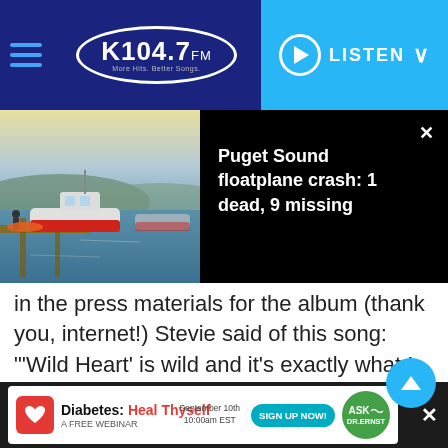K104.7 FM — LISTEN
[Figure (photo): Boats docked at a waterfront marina with water and hills in the background under a pale sky]
Puget Sound floatplane crash: 1 dead, 9 missing
in the press materials for the album (thank you, internet!) Stevie said of this song: "'Wild Heart' is wild and it's exactly what I wanted it to be: the Wild Heart is all the darkest places of your mind; it's a real intense song. I played it for Tom Petty and he said, 'This is an epic', and that's just what it is, the real story of what we all go through, everybody... of how wild our hearts
[Figure (infographic): Advertisement: Diabetes: Heal Thyself — A Free Webinar — September 10th 10:00am EST — Sign Up Now! — Ask Dr. Ernst]